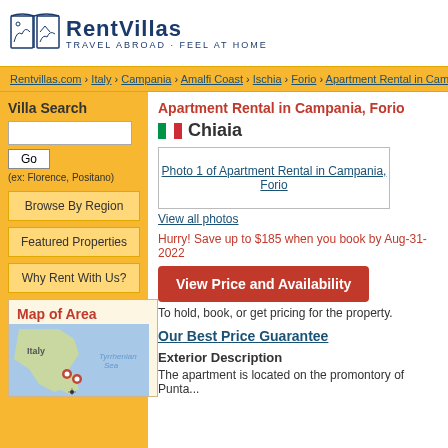[Figure (logo): RentVillas logo with open book icon and tagline 'Travel Abroad - Feel at Home']
Rentvillas.com › Italy › Campania › Amalfi Coast › Ischia › Forio › Apartment Rental in Campania, F...
Villa Search
(ex: Florence, Positano)
Browse By Region
Featured Properties
Why Rent With Us?
Map of Area
[Figure (map): Map of Italy showing location markers near Ischia/Forio area]
Apartment Rental in Campania, Forio
Chiaia
[Figure (photo): Photo 1 of Apartment Rental in Campania, Forio]
View all photos
Hurry! Save up to $185 when you book by Aug-31-2022
View Price and Availability
To hold, book, or get pricing for the property.
Our Best Price Guarantee
Exterior Description
The apartment is located on the promontory of Punta...